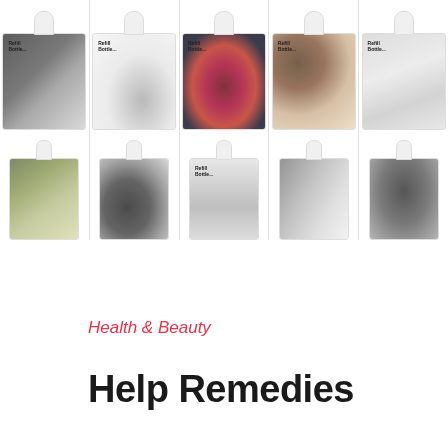[Figure (photo): Two rows of five white pump-dispenser bottles (Refill Bottle brand), each with a different artistic photographic image on its label: charcoal/ink texture, smoke, dark berries, coffee circles, muddy shoe, moss/lichen, dark splash, wave, swipe, dark smear.]
Health & Beauty
Help Remedies